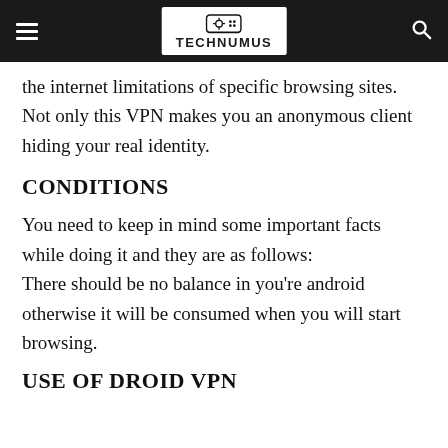TECHNUMUS
the internet limitations of specific browsing sites. Not only this VPN makes you an anonymous client hiding your real identity.
CONDITIONS
You need to keep in mind some important facts while doing it and they are as follows: There should be no balance in you're android otherwise it will be consumed when you will start browsing.
USE OF DROID VPN